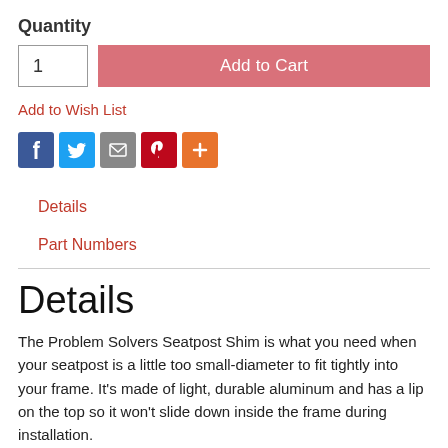Quantity
1
Add to Cart
Add to Wish List
[Figure (infographic): Social sharing icons: Facebook (blue), Twitter (light blue), Email (gray), Pinterest (red), More/Plus (orange)]
Details
Part Numbers
Details
The Problem Solvers Seatpost Shim is what you need when your seatpost is a little too small-diameter to fit tightly into your frame. It's made of light, durable aluminum and has a lip on the top so it won't slide down inside the frame during installation.